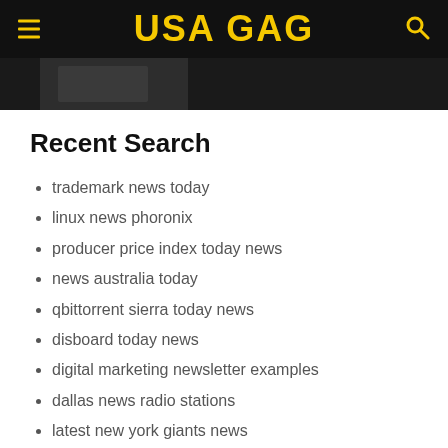USA GAG
[Figure (photo): Partial image visible below navigation header, dark-toned photo cropped to a strip]
Recent Search
trademark news today
linux news phoronix
producer price index today news
news australia today
qbittorrent sierra today news
disboard today news
digital marketing newsletter examples
dallas news radio stations
latest new york giants news
live news channel geo